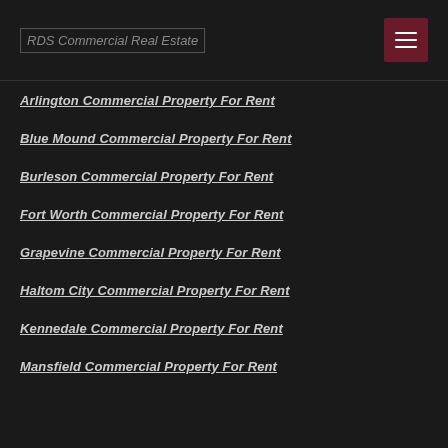RDS Commercial Real Estate
Arlington Commercial Property For Rent
Blue Mound Commercial Property For Rent
Burleson Commercial Property For Rent
Fort Worth Commercial Property For Rent
Grapevine Commercial Property For Rent
Haltom City Commercial Property For Rent
Kennedale Commercial Property For Rent
Mansfield Commercial Property For Rent